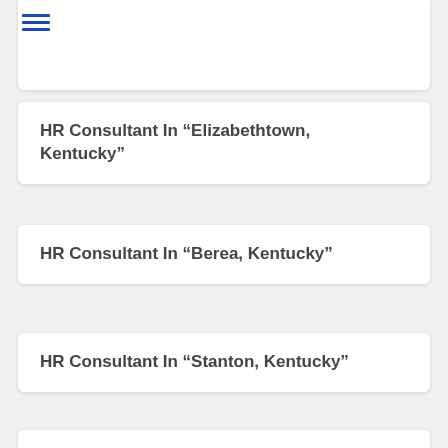menu icon (hamburger)
HR Consultant In “Elizabethtown, Kentucky”
HR Consultant In “Berea, Kentucky”
HR Consultant In “Stanton, Kentucky”